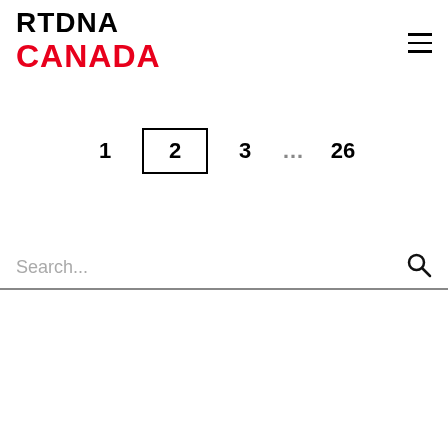[Figure (logo): RTDNA Canada logo — 'RTDNA' in black bold text above 'CANADA' in bold red text]
1  2  3  …  26
Search...